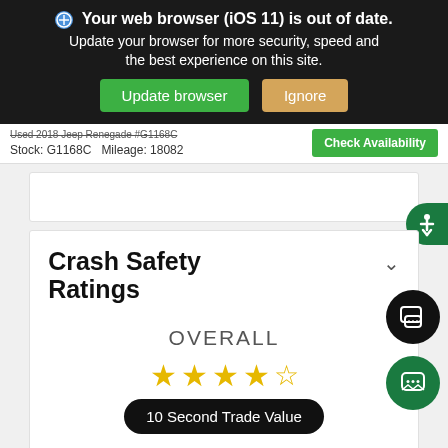Your web browser (iOS 11) is out of date. Update your browser for more security, speed and the best experience on this site.
Update browser
Ignore
Used 2018 Jeep Renegade #G1168C  Stock: G1168C  Mileage: 18082
Check Availability
Crash Safety Ratings
OVERALL
10 Second Trade Value